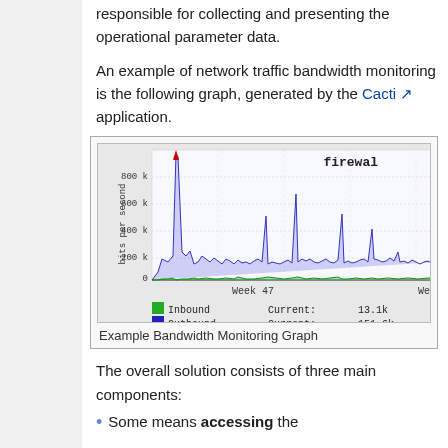responsible for collecting and presenting the operational parameter data.
An example of network traffic bandwidth monitoring is the following graph, generated by the Cacti application.
[Figure (continuous-plot): Network traffic bandwidth monitoring graph generated by Cacti application. Shows 'firewal...' title. Y-axis: bits per second, ranging 0 to 800k. X-axis shows Week 47 and Week (next). Two series: Inbound (green) Current: 13.1k, Outbound (blue) Current: 151.6k. Large spike in outbound traffic visible near left and center-right.]
Example Bandwidth Monitoring Graph
The overall solution consists of three main components:
Some means accessing the